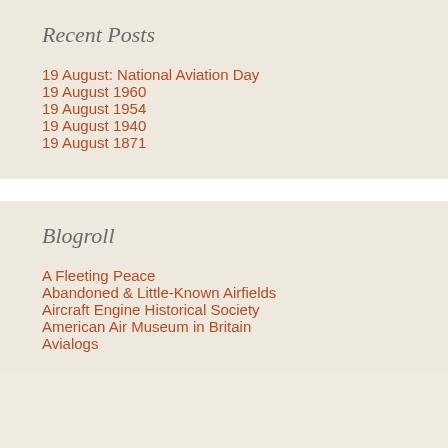Recent Posts
19 August: National Aviation Day
19 August 1960
19 August 1954
19 August 1940
19 August 1871
Blogroll
A Fleeting Peace
Abandoned & Little-Known Airfields
Aircraft Engine Historical Society
American Air Museum in Britain
Avialogs